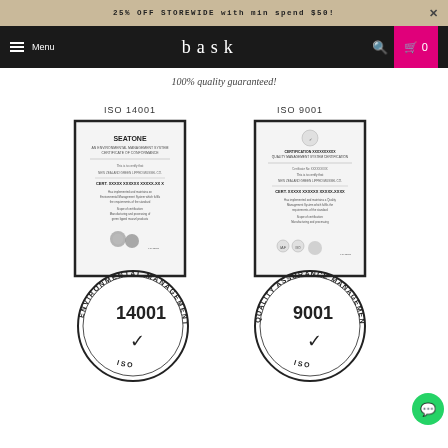25% OFF STOREWIDE with min spend $50!
[Figure (screenshot): Bask store navigation bar with hamburger menu, brand name 'bask', search icon, and cart button showing 0 items]
100% quality guaranteed!
[Figure (infographic): Two ISO certificates with circular stamps: ISO 14001 Environmental Management and ISO 9001 Quality Assurance Management, showing certificate documents for SEATONE brand with overlapping circular stamp logos]